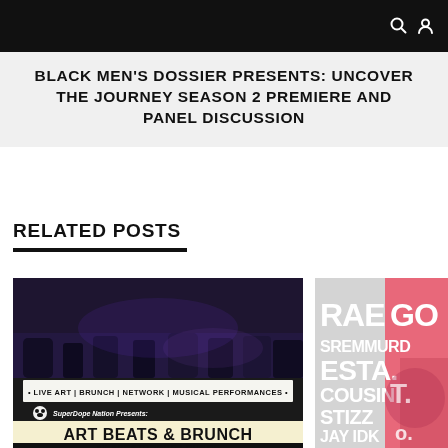Navigation bar with search and user icons
BLACK MEN'S DOSSIER PRESENTS: UNCOVER THE JOURNEY SEASON 2 PREMIERE AND PANEL DISCUSSION
RELATED POSTS
[Figure (photo): Art Beats & Brunch event flyer showing a crowd at a nighttime event with text: LIVE ART | BRUNCH | NETWORK | MUSICAL PERFORMANCES, SuperDope Nation Presents: ART BEATS & BRUNCH AT APOSTROPHE LOUNGE]
[Figure (photo): Concert poster with white text on grey/pink background showing artist names: RAE, GO, SREMMURD, ESTA, COUSIN STIZZ, JAY IDK, DIRTY CHOCOLATE]